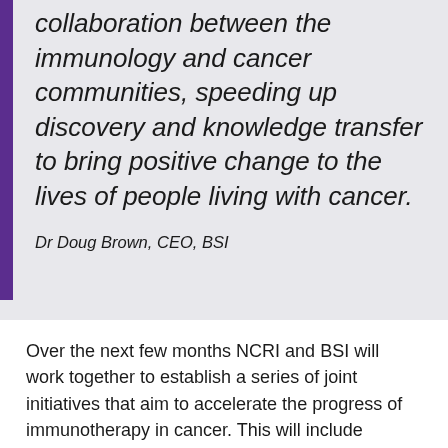collaboration between the immunology and cancer communities, speeding up discovery and knowledge transfer to bring positive change to the lives of people living with cancer.
Dr Doug Brown, CEO, BSI
Over the next few months NCRI and BSI will work together to establish a series of joint initiatives that aim to accelerate the progress of immunotherapy in cancer. This will include enhancing the training for researchers and promoting knowledge sharing,